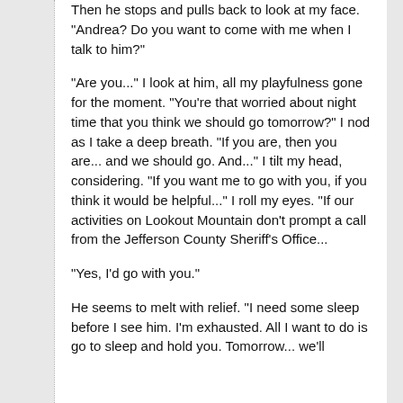Then he stops and pulls back to look at my face. "Andrea? Do you want to come with me when I talk to him?"
"Are you..." I look at him, all my playfulness gone for the moment. "You're that worried about night time that you think we should go tomorrow?" I nod as I take a deep breath. "If you are, then you are... and we should go. And..." I tilt my head, considering. "If you want me to go with you, if you think it would be helpful..." I roll my eyes. "If our activities on Lookout Mountain don't prompt a call from the Jefferson County Sheriff's Office...
"Yes, I'd go with you."
He seems to melt with relief. "I need some sleep before I see him. I'm exhausted. All I want to do is go to sleep and hold you. Tomorrow... we'll